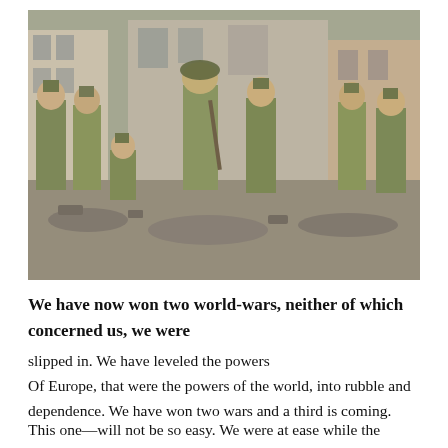[Figure (photo): Group of soldiers in World War II military uniforms and helmets standing in a rubble-strewn street of a bombed European city. Buildings damaged in background. Film still appearance, possibly from a war movie.]
We have now won two world-wars, neither of which concerned us, we were slipped in. We have leveled the powers Of Europe, that were the powers of the world, into rubble and dependence. We have won two wars and a third is coming.

This one—will not be so easy. We were at ease while the powers